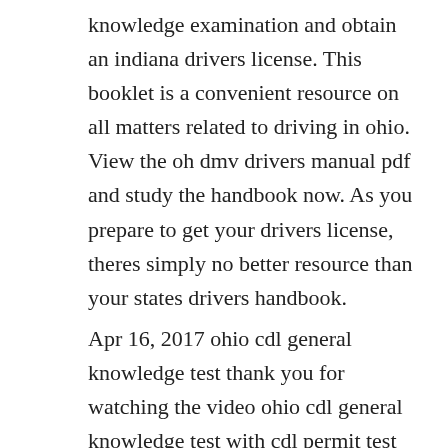knowledge examination and obtain an indiana drivers license. This booklet is a convenient resource on all matters related to driving in ohio. View the oh dmv drivers manual pdf and study the handbook now. As you prepare to get your drivers license, theres simply no better resource than your states drivers handbook.
Apr 16, 2017 ohio cdl general knowledge test thank you for watching the video ohio cdl general knowledge test with cdl permit test channel. It can be accessed on the bureau of